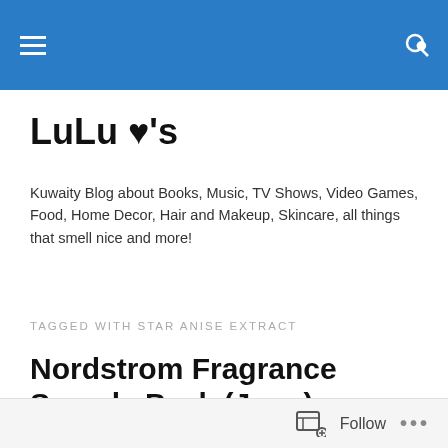LuLu ♥'s — site navigation header with hamburger menu and search icon
LuLu ♥'s
Kuwaity Blog about Books, Music, TV Shows, Video Games, Food, Home Decor, Hair and Makeup, Skincare, all things that smell nice and more!
TAGGED WITH STAR ANISE EXTRACT
Nordstrom Fragrance Sample Pack (June)
[Figure (photo): Partial view of a grey-toned photograph, content partially visible at bottom of page]
Follow ...